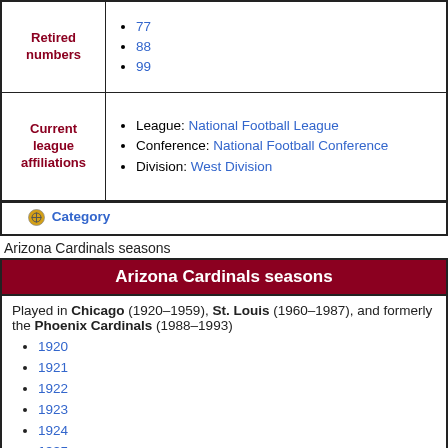| Label | Content |
| --- | --- |
| Retired numbers | 77, 88, 99 |
| Current league affiliations | League: National Football League
Conference: National Football Conference
Division: West Division |
Category
Arizona Cardinals seasons
Arizona Cardinals seasons
Played in Chicago (1920–1959), St. Louis (1960–1987), and formerly the Phoenix Cardinals (1988–1993)
1920
1921
1922
1923
1924
1925
1926
1927
1928
1929
1930